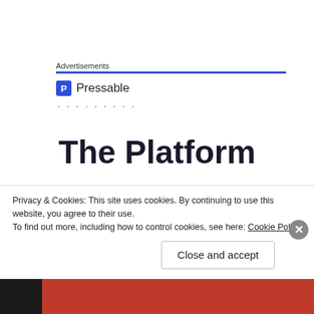Advertisements
[Figure (logo): Pressable logo — blue square with 'P' icon followed by 'Pressable' text, with a row of dots below]
The Platform
That changed after Ann Philbin, the Hammer's director, visited Martin's home in Los Angeles and was intrigued by a Harris landscape painting.
Privacy & Cookies: This site uses cookies. By continuing to use this website, you agree to their use.
To find out more, including how to control cookies, see here: Cookie Policy
Close and accept